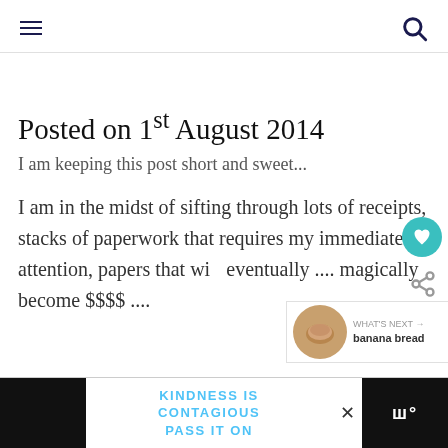Navigation header with hamburger menu and search icon
Posted on 1st August 2014
I am keeping this post short and sweet...
I am in the midst of sifting through lots of receipts, stacks of paperwork that requires my immediate attention, papers that wi eventually .... magically become $$$$ ....
[Figure (other): What's Next thumbnail showing banana bread with label 'WHAT'S NEXT → banana bread']
KINDNESS IS CONTAGIOUS PASS IT ON